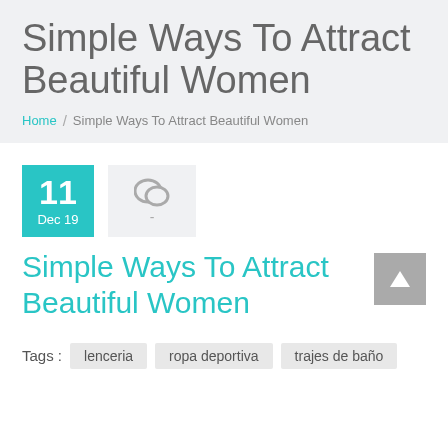Simple Ways To Attract Beautiful Women
Home / Simple Ways To Attract Beautiful Women
11 Dec 19
Simple Ways To Attract Beautiful Women
Tags : lenceria   ropa deportiva   trajes de baño